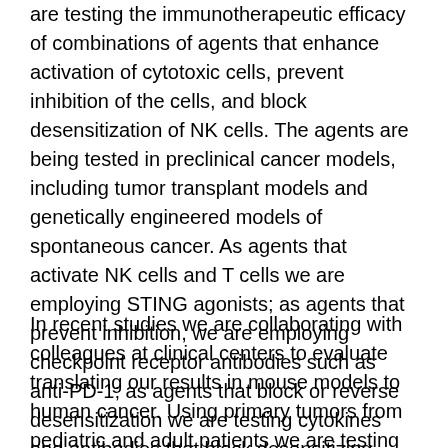are testing the immunotherapeutic efficacy of combinations of agents that enhance activation of cytotoxic cells, prevent inhibition of the cells, and block desensitization of NK cells. The agents are being tested in preclinical cancer models, including tumor transplant models and genetically engineered models of spontaneous cancer. As agents that activate NK cells and T cells we are employing STING agonists; as agents that prevent inhibition, we are employing checkpoint receptor antibodies such as anti-PD-1; as agents that block or reverse desensitization we are testing cytokines and antibodies that block desensitizing NKG2D ligands. Preliminary results show that combination therapies targeting these independent mechanisms are more effective than monotherapy and promising for further development.
In recent studies we are collaborating with colleagues at clinical centers to evaluate translating our results in mouse models to human cancer. Using primary tumors from pediatric and adult patients we are testing the generality of our findings and mice and evaluating the potential of these